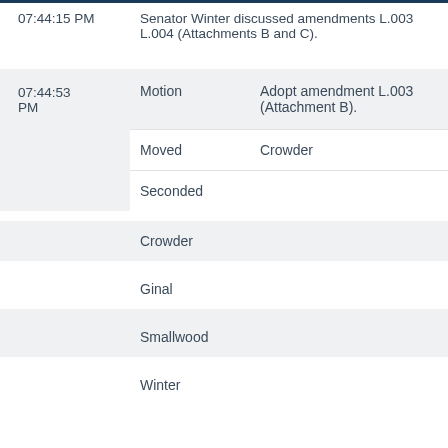07:44:15 PM
Senator Winter discussed amendments L.003 L.004 (Attachments B and C).
| Time | Type | Detail |
| --- | --- | --- |
| 07:44:53 PM | Motion | Adopt amendment L.003 (Attachment B). |
|  | Moved | Crowder |
|  | Seconded |  |
|  | Crowder |  |
|  | Ginal |  |
|  | Smallwood |  |
|  | Winter |  |